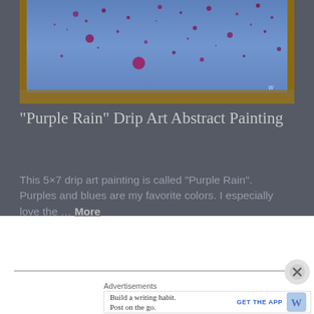[Figure (photo): A blue fabric or skirt with scattered purple/red paint drip splatters, laid on what appears to be a textured surface or grass.]
“Purple Rain” Drip Art Abstract Painting
This 5×7 drip art painting is called “Purple Rain”. Purples and blues are my favorite colors. I especially love the … More
Advertisements
Build a writing habit. Post on the go.
GET THE APP